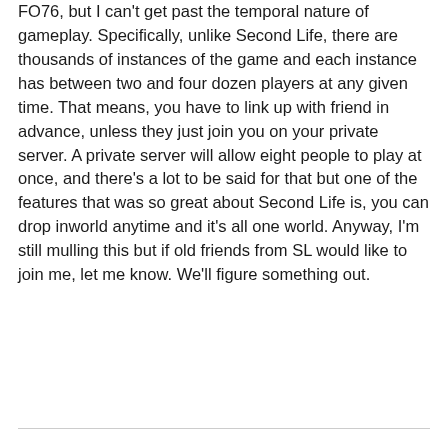FO76, but I can't get past the temporal nature of gameplay. Specifically, unlike Second Life, there are thousands of instances of the game and each instance has between two and four dozen players at any given time. That means, you have to link up with friend in advance, unless they just join you on your private server. A private server will allow eight people to play at once, and there's a lot to be said for that but one of the features that was so great about Second Life is, you can drop inworld anytime and it's all one world. Anyway, I'm still mulling this but if old friends from SL would like to join me, let me know. We'll figure something out.